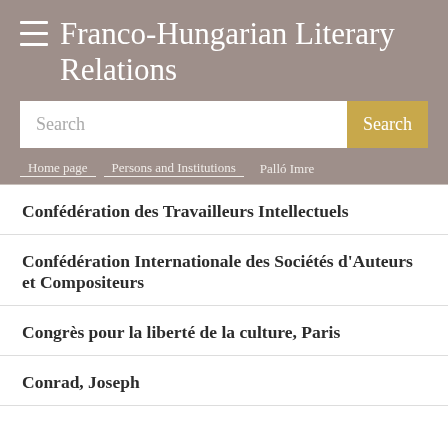Franco-Hungarian Literary Relations
Search | Home page > Persons and Institutions > Palló Imre
Confédération des Travailleurs Intellectuels
Confédération Internationale des Sociétés d'Auteurs et Compositeurs
Congrès pour la liberté de la culture, Paris
Conrad, Joseph